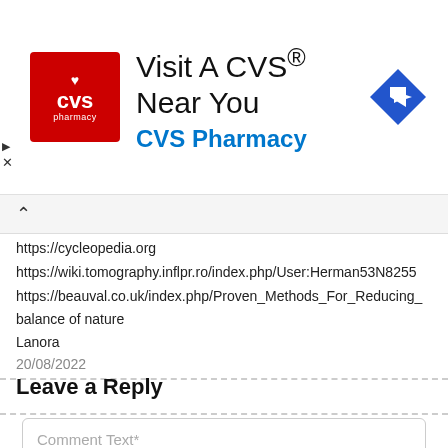[Figure (other): CVS Pharmacy advertisement banner with red CVS logo, text 'Visit A CVS® Near You' and 'CVS Pharmacy' in blue, and a blue diamond navigation arrow icon on the right]
https://cycleopedia.org
https://wiki.tomography.inflpr.ro/index.php/User:Herman53N8255
https://beauval.co.uk/index.php/Proven_Methods_For_Reducing_
balance of nature
Lanora
20/08/2022
Leave a Reply
Comment Text*